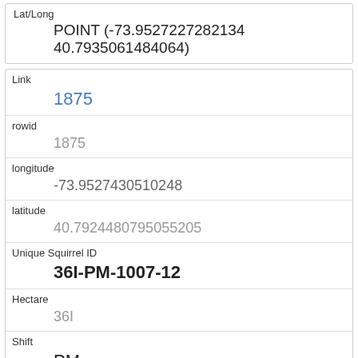| Field | Value |
| --- | --- |
| Lat/Long | POINT (-73.9527227282134 40.7935061484064) |
| Link | 1875 |
| rowid | 1875 |
| longitude | -73.9527430510248 |
| latitude | 40.7924480795055205 |
| Unique Squirrel ID | 36I-PM-1007-12 |
| Hectare | 36I |
| Shift | PM |
| Date | 10072018 |
| Hectare Squirrel Number | 12 |